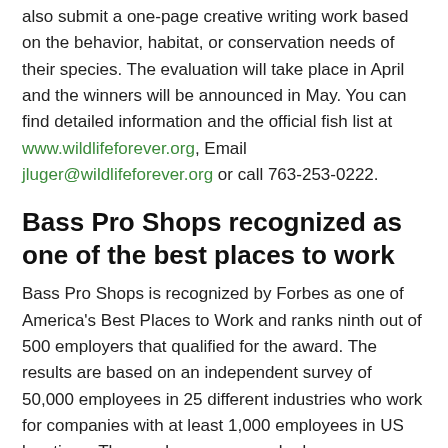also submit a one-page creative writing work based on the behavior, habitat, or conservation needs of their species. The evaluation will take place in April and the winners will be announced in May. You can find detailed information and the official fish list at www.wildlifeforever.org, Email jluger@wildlifeforever.org or call 763-253-0222.
Bass Pro Shops recognized as one of the best places to work
Bass Pro Shops is recognized by Forbes as one of America's Best Places to Work and ranks ninth out of 500 employers that qualified for the award. The results are based on an independent survey of 50,000 employees in 25 different industries who work for companies with at least 1,000 employees in US locations. The employees were asked open questions about their employer. For more information visit www.basspro.com/careers